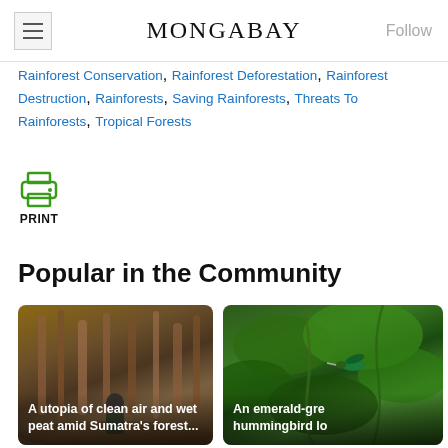MONGABAY
Rainforest Conservation, Rainforest Deforestation, Rainforest Destruction, Rainforests, Saving Rainforests, Threats To Rainforests, Tropical Forests
[Figure (infographic): Printer icon with PRINT label below]
Popular in the Community
[Figure (photo): A utopia of clean air and wet peat amid Sumatra's forest... — photo of man standing among trees in Sumatra forest]
[Figure (photo): An emerald-gre hummingbird lo — photo of green hummingbird among leaves]